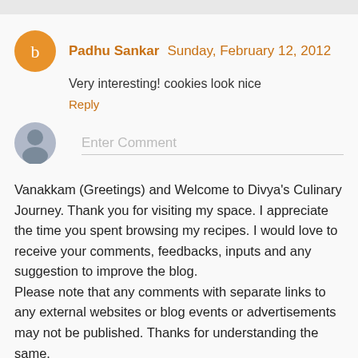Padhu Sankar  Sunday, February 12, 2012
Very interesting! cookies look nice
Reply
Enter Comment
Vanakkam (Greetings) and Welcome to Divya's Culinary Journey. Thank you for visiting my space. I appreciate the time you spent browsing my recipes. I would love to receive your comments, feedbacks, inputs and any suggestion to improve the blog.
Please note that any comments with separate links to any external websites or blog events or advertisements may not be published. Thanks for understanding the same.
Hope you found what you are looking for and